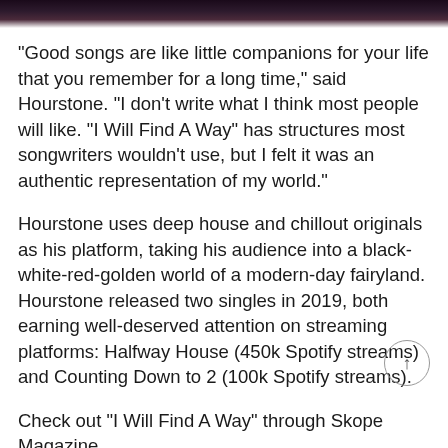“Good songs are like little companions for your life that you remember for a long time,” said Hourstone. “I don’t write what I think most people will like. “I Will Find A Way” has structures most songwriters wouldn’t use, but I felt it was an authentic representation of my world.”
Hourstone uses deep house and chillout originals as his platform, taking his audience into a black-white-red-golden world of a modern-day fairyland. Hourstone released two singles in 2019, both earning well-deserved attention on streaming platforms: Halfway House (450k Spotify streams) and Counting Down to 2 (100k Spotify streams).
Check out “I Will Find A Way” through Skope Magazine.